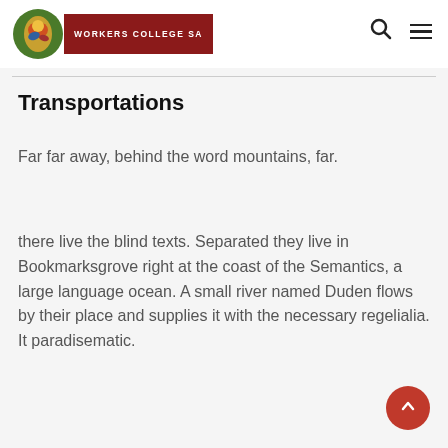WORKERS COLLEGE SA
Transportations
Far far away, behind the word mountains, far.
there live the blind texts. Separated they live in Bookmarksgrove right at the coast of the Semantics, a large language ocean. A small river named Duden flows by their place and supplies it with the necessary regelialia. It paradisematic.